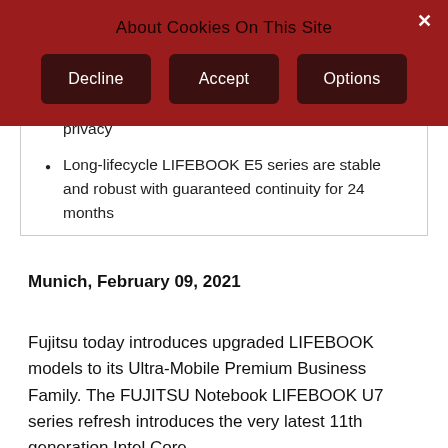offer the highest levels of data protection and privacy
Long-lifecycle LIFEBOOK E5 series are stable and robust with guaranteed continuity for 24 months
[Figure (screenshot): Cookie consent banner overlay with title 'About Cookies On This Site' and three buttons: Decline, Accept, Options. A close (×) button is in the top-right corner. The banner has a dark red background with darker brown buttons.]
Munich, February 09, 2021
Fujitsu today introduces upgraded LIFEBOOK models to its Ultra-Mobile Premium Business Family. The FUJITSU Notebook LIFEBOOK U7 series refresh introduces the very latest 11th generation Intel Core